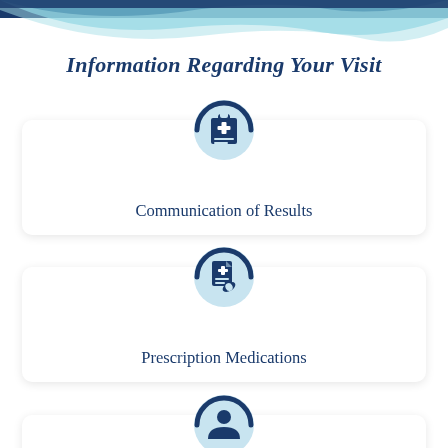[Figure (infographic): Decorative blue wave header graphic at the top of the page]
Information Regarding Your Visit
[Figure (infographic): Circular icon with medical clipboard and plus sign, light blue background with dark blue arc border, representing Communication of Results]
Communication of Results
[Figure (infographic): Circular icon with medical prescription document and pills, light blue background with dark blue arc border, representing Prescription Medications]
Prescription Medications
[Figure (infographic): Circular icon partially visible at bottom of page with dark blue arc border, light blue background]